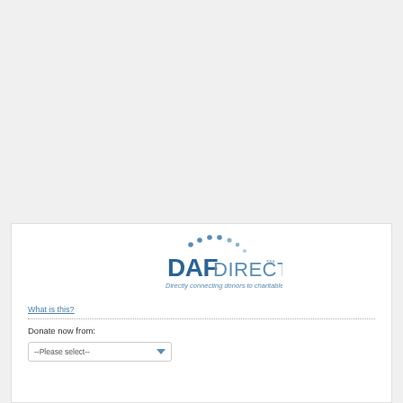[Figure (logo): DAFDirect logo with dots arranged in an arc above the text and tagline 'Directly connecting donors to charitable causes']
What is this?
Donate now from:
--Please select--